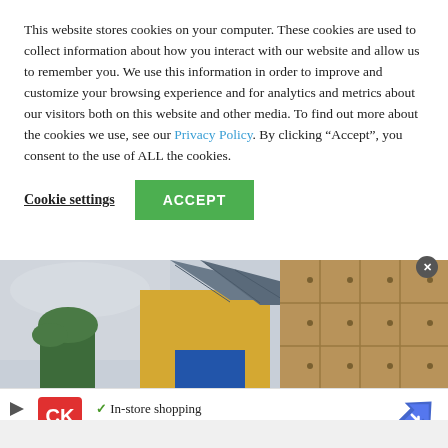This website stores cookies on your computer. These cookies are used to collect information about how you interact with our website and allow us to remember you. We use this information in order to improve and customize your browsing experience and for analytics and metrics about our visitors both on this website and other media. To find out more about the cookies we use, see our Privacy Policy. By clicking “Accept”, you consent to the use of ALL the cookies.
Cookie settings | ACCEPT
[Figure (photo): Exterior view of buildings with a yellow stucco wall, plywood-boarded sections, a slate-shingled roof peak, and a palm tree visible on the left, against a cloudy sky.]
In-store shopping  X In-store pickup  X Delivery